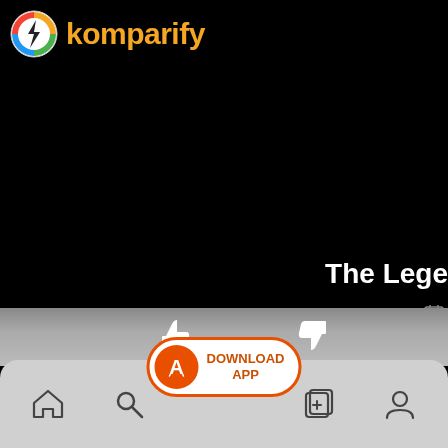[Figure (logo): Komparify app logo: circular icon with lightning bolt on colorful background, beside orange text 'komparify']
[Figure (screenshot): Black video player area showing bottom text 'The Lege' (truncated), with a gray gradient toolbar showing thumbs up and thumbs down icons, a Download App button with App Store icon in orange circle, and a bottom navigation bar with home, search, download app CTA, add, and profile icons]
The Lege
DOWNLOAD
APP